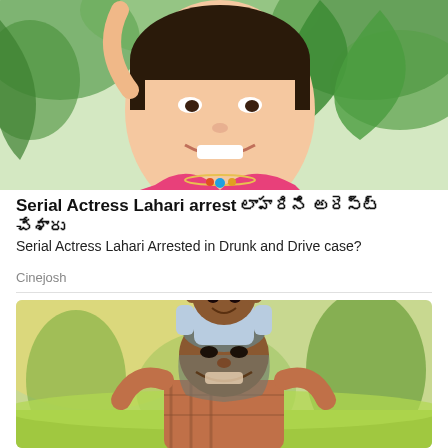[Figure (photo): Young girl smiling with pink top, colorful necklace, green tropical leaves in background]
Serial Actress Lahari arrest లాహరిని అరెస్ట్ చేశారు
Serial Actress Lahari Arrested in Drunk and Drive case?
Cinejosh
[Figure (photo): Older Black man laughing outdoors with a young child sitting on his shoulders, sunny park background]